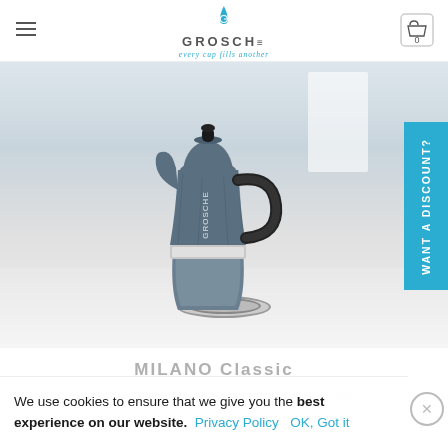GROSCHE — every cup fills another
[Figure (photo): GROSCHE Milano Classic blue moka pot / stovetop espresso maker sitting on a stove burner in a white kitchen setting. The pot is blue/slate colored with a black handle and knob, with GROSCHE branding on the body.]
WANT A DISCOUNT?
We use cookies to ensure that we give you the best experience on our website.  Privacy Policy   OK, Got it
MILANO Classic
The MILANO stovetop espresso maker by GROSCHE is a classi...